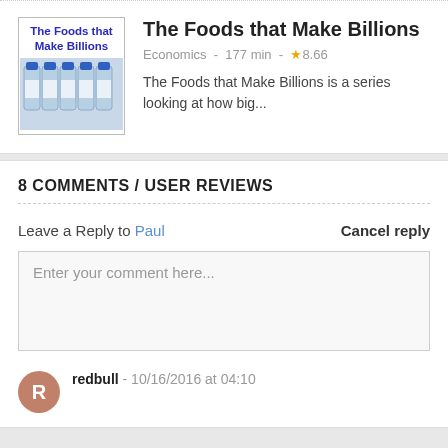[Figure (screenshot): Show thumbnail for 'The Foods that Make Billions' with blue text title and water bottles image]
The Foods that Make Billions
Economics - 177 min - ★8.66
The Foods that Make Billions is a series looking at how big...
8 COMMENTS / USER REVIEWS
Leave a Reply to Paul
Cancel reply
Enter your comment here...
redbull - 10/16/2016 at 04:10